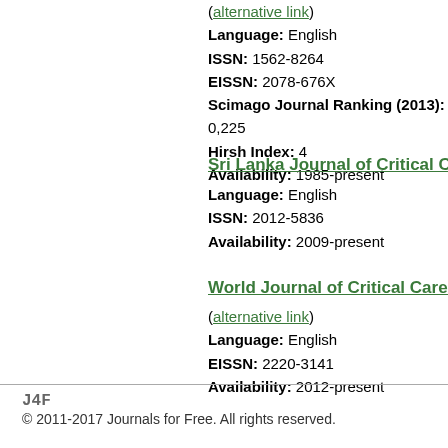(alternative link)
Language: English
ISSN: 1562-8264
EISSN: 2078-676X
Scimago Journal Ranking (2013): 0,225
Hirsh Index: 4
Availability: 1985-present
Sri Lanka Journal of Critical Care
Language: English
ISSN: 2012-5836
Availability: 2009-present
World Journal of Critical Care Me...
(alternative link)
Language: English
EISSN: 2220-3141
Availability: 2012-present
J4F
© 2011-2017 Journals for Free. All rights reserved.